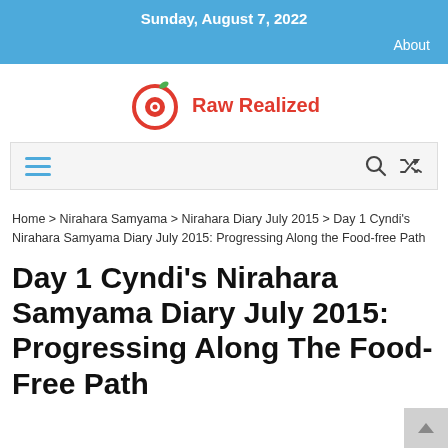Sunday, August 7, 2022
About
[Figure (logo): Raw Realized logo: red circular apple icon with green leaf and red heart/circle inside, next to bold red text 'Raw Realized']
Navigation bar with hamburger menu icon (three blue horizontal lines) on the left and search and shuffle icons on the right
Home > Nirahara Samyama > Nirahara Diary July 2015 > Day 1 Cyndi's Nirahara Samyama Diary July 2015: Progressing Along the Food-free Path
Day 1 Cyndi's Nirahara Samyama Diary July 2015: Progressing Along The Food-Free Path